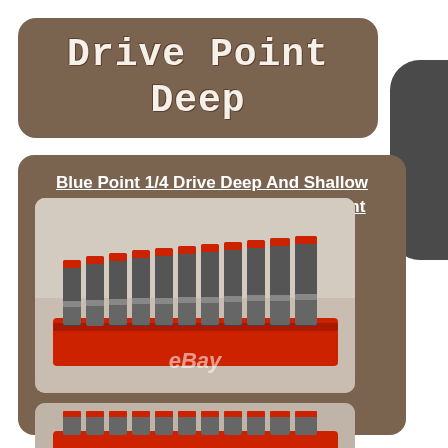Drive Point Deep
Blue Point 1/4 Drive Deep And Shallow Socket Set Set, 3/16 Uo To 5/8, 6 Point
[Figure (photo): Photo of Blue Point 1/4 drive deep and shallow socket set on a red plastic tray holder, arranged in two rows on a carpet/cloth background, with eBay watermark]
[Figure (photo): Partial photo of the same Blue Point socket set, showing the bottom portion of the sockets in their red tray]